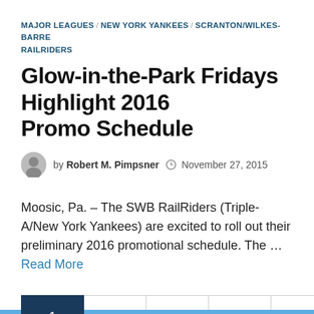MAJOR LEAGUES / NEW YORK YANKEES / SCRANTON/WILKES-BARRE RAILRIDERS
Glow-in-the-Park Fridays Highlight 2016 Promo Schedule
by Robert M. Pimpsner  November 27, 2015
Moosic, Pa. – The SWB RailRiders (Triple-A/New York Yankees) are excited to roll out their preliminary 2016 promotional schedule. The …Read More
Pagination: 1, 2, ..., 5, Next